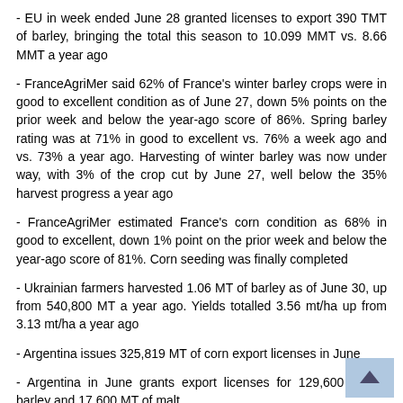- EU in week ended June 28 granted licenses to export 390 TMT of barley, bringing the total this season to 10.099 MMT vs. 8.66 MMT a year ago
- FranceAgriMer said 62% of France's winter barley crops were in good to excellent condition as of June 27, down 5% points on the prior week and below the year-ago score of 86%. Spring barley rating was at 71% in good to excellent vs. 76% a week ago and vs. 73% a year ago. Harvesting of winter barley was now under way, with 3% of the crop cut by June 27, well below the 35% harvest progress a year ago
- FranceAgriMer estimated France's corn condition as 68% in good to excellent, down 1% point on the prior week and below the year-ago score of 81%. Corn seeding was finally completed
- Ukrainian farmers harvested 1.06 MT of barley as of June 30, up from 540,800 MT a year ago. Yields totalled 3.56 mt/ha up from 3.13 mt/ha a year ago
- Argentina issues 325,819 MT of corn export licenses in June
- Argentina in June grants export licenses for 129,600 MT of barley and 17,600 MT of malt
- Buenos Aires Grain Exchange left its 2015/16 Argentine corn crop estimate unchanged from a week ago at 26 MMT/26.9 MMT (or 26 MT...